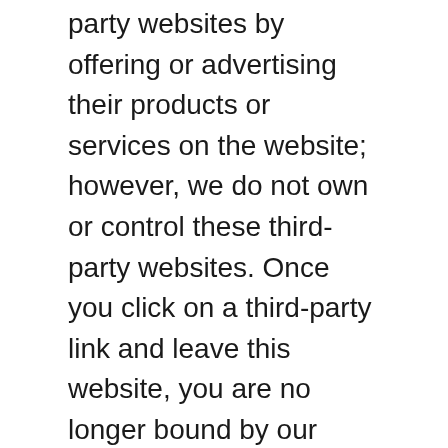party websites by offering or advertising their products or services on the website; however, we do not own or control these third-party websites. Once you click on a third-party link and leave this website, you are no longer bound by our terms and conditions.
You agree that we are not responsible or liable for the accuracy, content, or any information presented on these third-party websites. You assume all risks for using these third-party websites or resources and any transactions between you and these third-party websites are strictly between you and the third party. We shall not be liable for any damages resulting from your use of these third-party websites or resources.